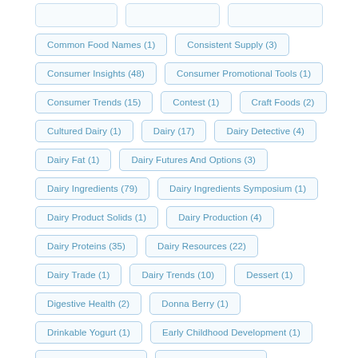Common Food Names (1)
Consistent Supply (3)
Consumer Insights (48)
Consumer Promotional Tools (1)
Consumer Trends (15)
Contest (1)
Craft Foods (2)
Cultured Dairy (1)
Dairy (17)
Dairy Detective (4)
Dairy Fat (1)
Dairy Futures And Options (3)
Dairy Ingredients (79)
Dairy Ingredients Symposium (1)
Dairy Product Solids (1)
Dairy Production (4)
Dairy Proteins (35)
Dairy Resources (22)
Dairy Trade (1)
Dairy Trends (10)
Dessert (1)
Digestive Health (2)
Donna Berry (1)
Drinkable Yogurt (1)
Early Childhood Development (1)
Educational Tools (1)
Egg Replacement (2)